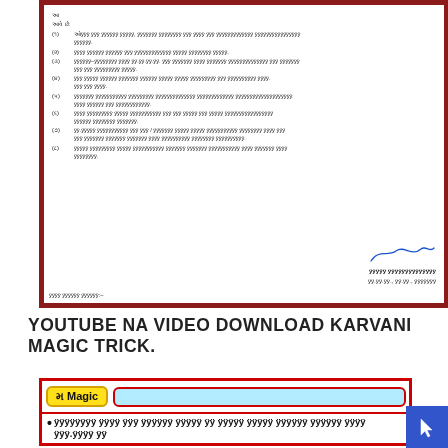[Figure (illustration): Scanned official Gujarati document with dark red border, numbered list items in Gujarati script, signature area with handwritten signature, and 'nakal' line at bottom]
YOUTUBE NA VIDEO DOWNLOAD KARVANI MAGIC TRICK.
[Figure (infographic): Infographic banner with yellow button 'મહામેગા Magic' and blue button 'યુટ્યુબના વિડ્યો ડાઉનલોડ', followed by Gujarati bullet text about opening YouTube videos]